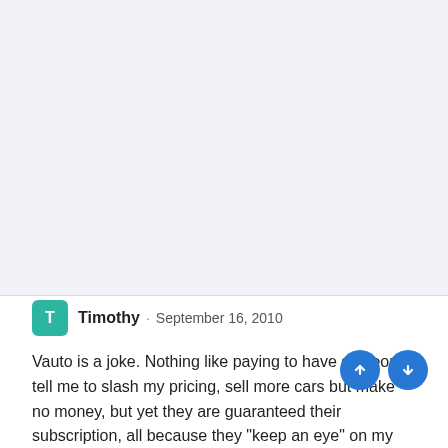[Figure (other): Large blank/whitespace area at top of screenshot, light blue-gray background]
T  Timothy · September 16, 2010

Vauto is a joke. Nothing like paying to have someone tell me to slash my pricing, sell more cars but make no money, but yet they are guaranteed their subscription, all because they "keep an eye" on my competition. Crazy thing is, everyone feels he is the best salesman around with a great idea! At the end of the day